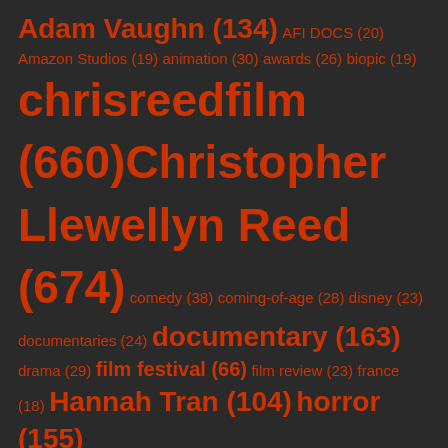Adam Vaughn (134) AFI DOCS (20) Amazon Studios (19) animation (30) awards (26) biopic (19) chrisreedfilm (660) Christopher Llewellyn Reed (674) comedy (38) coming-of-age (28) disney (23) documentaries (24) documentary (163) drama (29) film festival (66) film review (23) france (18) Hannah Tran (104) horror (155)